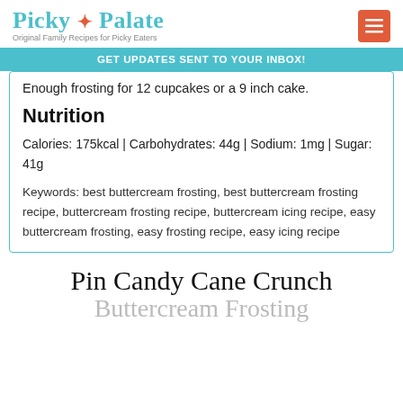Picky Palate — Original Family Recipes for Picky Eaters
GET UPDATES SENT TO YOUR INBOX!
Enough frosting for 12 cupcakes or a 9 inch cake.
Nutrition
Calories: 175kcal | Carbohydrates: 44g | Sodium: 1mg | Sugar: 41g
Keywords: best buttercream frosting, best buttercream frosting recipe, buttercream frosting recipe, buttercream icing recipe, easy buttercream frosting, easy frosting recipe, easy icing recipe
Pin Candy Cane Crunch Buttercream Frosting